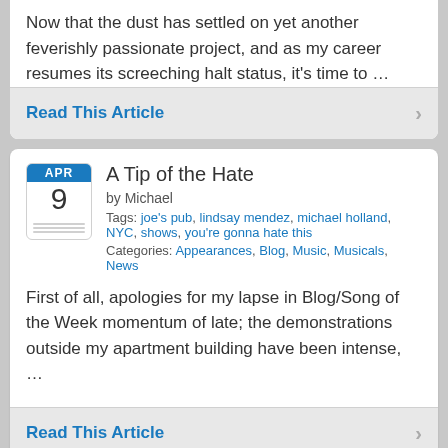Now that the dust has settled on yet another feverishly passionate project, and as my career resumes its screeching halt status, it's time to …
Read This Article
A Tip of the Hate
by Michael
Tags: joe's pub, lindsay mendez, michael holland, NYC, shows, you're gonna hate this
Categories: Appearances, Blog, Music, Musicals, News
First of all, apologies for my lapse in Blog/Song of the Week momentum of late; the demonstrations outside my apartment building have been intense, …
Read This Article
In the Hate of the Night: Show 'Nuff!
by Michael